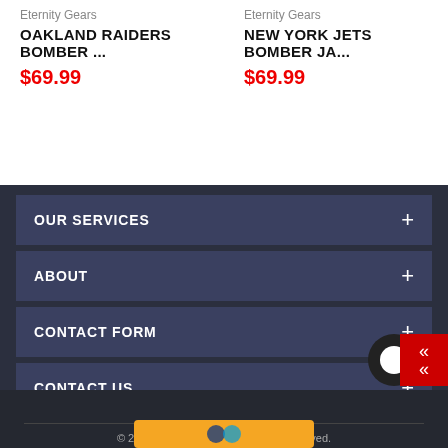Eternity Gears
OAKLAND RAIDERS BOMBER ...
$69.99
Eternity Gears
NEW YORK JETS BOMBER JA...
$69.99
OUR SERVICES
ABOUT
CONTACT FORM
CONTACT US
© 2021 Eternity Gears. All Rights Reserved.